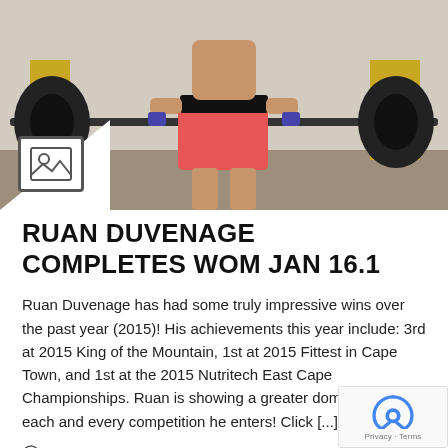[Figure (photo): Person lifting a barbell/deadlift in a gym, wearing red shorts, black belt, blue wrist wraps. Yellow weight plates visible in background.]
RUAN DUVENAGE COMPLETES WOM JAN 16.1
Ruan Duvenage has had some truly impressive wins over the past year (2015)! His achievements this year include: 3rd at 2015 King of the Mountain, 1st at 2015 Fittest in Cape Town, and 1st at the 2015 Nutritech East Cape Championships. Ruan is showing a greater dominance with each and every competition he enters! Click [...]
Jan 08, 2016
READ MORE